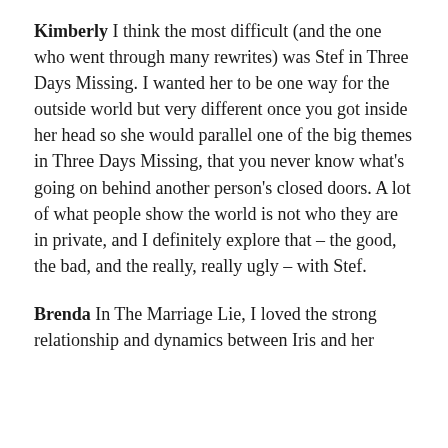Kimberly I think the most difficult (and the one who went through many rewrites) was Stef in Three Days Missing. I wanted her to be one way for the outside world but very different once you got inside her head so she would parallel one of the big themes in Three Days Missing, that you never know what's going on behind another person's closed doors. A lot of what people show the world is not who they are in private, and I definitely explore that – the good, the bad, and the really, really ugly – with Stef.
Brenda In The Marriage Lie, I loved the strong relationship and dynamics between Iris and her